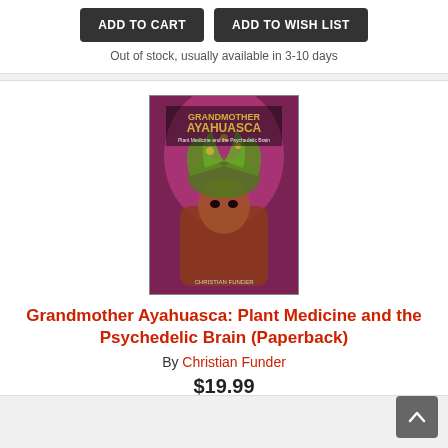ADD TO CART   ADD TO WISH LIST
Out of stock, usually available in 3-10 days
[Figure (illustration): Book cover of Grandmother Ayahuasca: Plant Medicine and the Psychedelic Brain by Christian Funder, featuring a psychedelic illustration of a figure with elaborate headdress in purple/pink tones]
Grandmother Ayahuasca: Plant Medicine and the Psychedelic Brain (Paperback)
By Christian Funder
$19.99
ADD TO CART   ADD TO WISH LIST
Out of stock, usually available in 3-10 days